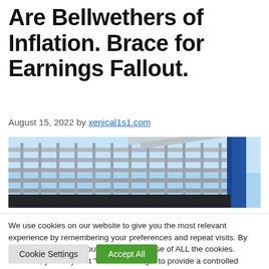Are Bellwethers of Inflation. Brace for Earnings Fallout.
August 15, 2022 by xenical1s1.com
[Figure (photo): Photo of shopping cart frames/metal grid structure against a blue sky, with a blue pole visible on the right side.]
We use cookies on our website to give you the most relevant experience by remembering your preferences and repeat visits. By clicking “Accept All”, you consent to the use of ALL the cookies. However, you may visit "Cookie Settings" to provide a controlled consent.